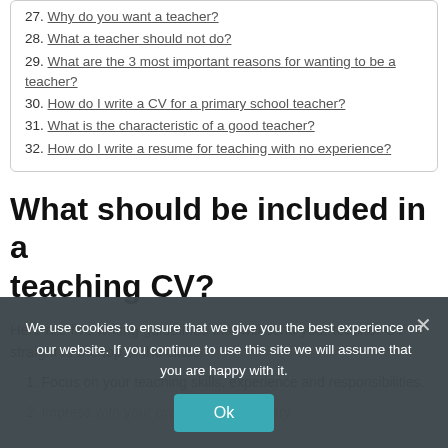27. Why do you want a teacher?
28. What a teacher should not do?
29. What are the 3 most important reasons for wanting to be a teacher?
30. How do I write a CV for a primary school teacher?
31. What is the characteristic of a good teacher?
32. How do I write a resume for teaching with no experience?
What should be included in a teaching CV?
Here are five writing guidelines that will send your teacher CV straight to the top of the class:
1. Focus on your teaching skills, experience and responsibilities.
2. Impress with your own education history.
We use cookies to ensure that we give you the best experience on our website. If you continue to use this site we will assume that you are happy with it.